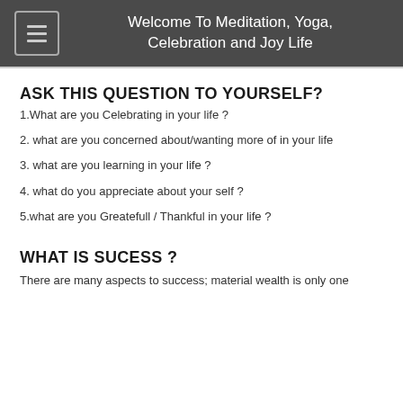Welcome To Meditation, Yoga, Celebration and Joy Life
ASK THIS QUESTION TO YOURSELF?
1.What are you Celebrating in your life ?
2. what are you concerned about/wanting more of in your life
3. what are you learning in your life ?
4. what do you appreciate about your self ?
5.what are you Greatefull / Thankful in your life ?
WHAT IS SUCESS ?
There are many aspects to success; material wealth is only one